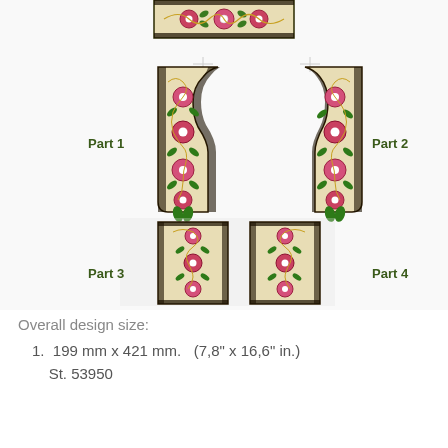[Figure (illustration): Embroidery design layout with 4 parts: top strip (partial, Part 1 top), middle row with Part 1 (left, bodice shape with floral embroidery) and Part 2 (right, mirror), bottom row with Part 3 (left, rectangular floral strip) and Part 4 (right, mirror). Colorful floral embroidery patterns in pink, green, gold, dark navy border on cream background.]
Overall design size:
199 mm x 421 mm.   (7,8" x 16,6" in.)
St. 53950